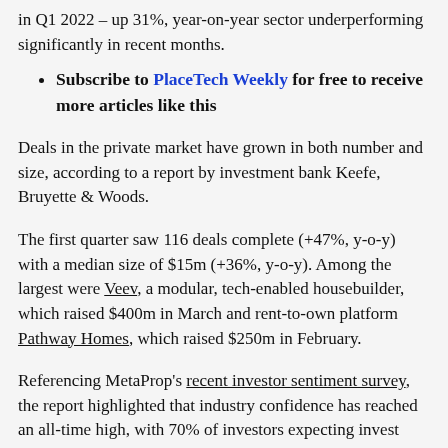in Q1 2022 – up 31%, year-on-year sector underperforming significantly in recent months.
Subscribe to PlaceTech Weekly for free to receive more articles like this
Deals in the private market have grown in both number and size, according to a report by investment bank Keefe, Bruyette & Woods.
The first quarter saw 116 deals complete (+47%, y-o-y) with a median size of $15m (+36%, y-o-y). Among the largest were Veev, a modular, tech-enabled housebuilder, which raised $400m in March and rent-to-own platform Pathway Homes, which raised $250m in February.
Referencing MetaProp's recent investor sentiment survey, the report highlighted that industry confidence has reached an all-time high, with 70% of investors expecting invest more in proptech over the next 12 months.